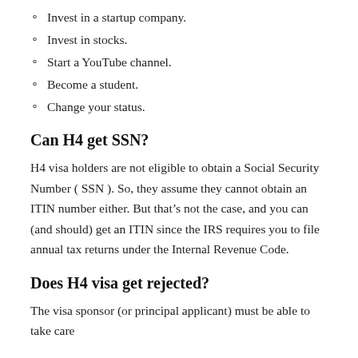Invest in a startup company.
Invest in stocks.
Start a YouTube channel.
Become a student.
Change your status.
Can H4 get SSN?
H4 visa holders are not eligible to obtain a Social Security Number ( SSN ). So, they assume they cannot obtain an ITIN number either. But that’s not the case, and you can (and should) get an ITIN since the IRS requires you to file annual tax returns under the Internal Revenue Code.
Does H4 visa get rejected?
The visa sponsor (or principal applicant) must be able to take care